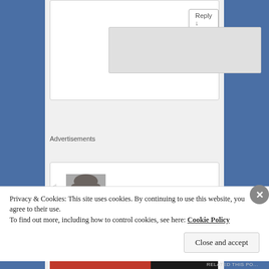[Figure (screenshot): Reply button inside a comment reply box. A grey textarea area is visible below.]
Advertisements
[Figure (photo): Black and white photo of a smiling woman with shoulder-length hair, used as a commenter avatar.]
Privacy & Cookies: This site uses cookies. By continuing to use this website, you agree to their use.
To find out more, including how to control cookies, see here: Cookie Policy
Close and accept